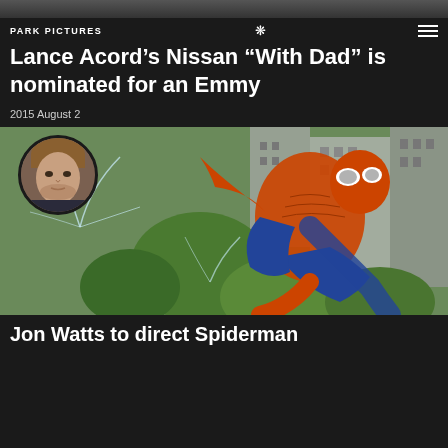[Figure (photo): Top strip showing a darkened photo background]
PARK PICTURES ❋ ≡
Lance Acord’s Nissan “With Dad” is nominated for an Emmy
2015 August 2
[Figure (illustration): Spiderman comic illustration swinging through a city, with a circular inset portrait of a young man (Jon Watts) in the upper left]
Jon Watts to direct Spiderman